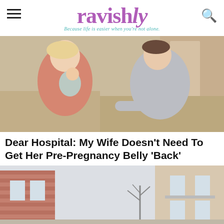ravishly — Because life is easier when you're not alone.
[Figure (photo): A woman holding a baby while a man sits beside her, appearing to have a serious conversation in a living room setting.]
Dear Hospital: My Wife Doesn't Need To Get Her Pre-Pregnancy Belly 'Back'
[Figure (photo): Exterior view of an apartment building in winter with bare trees visible.]